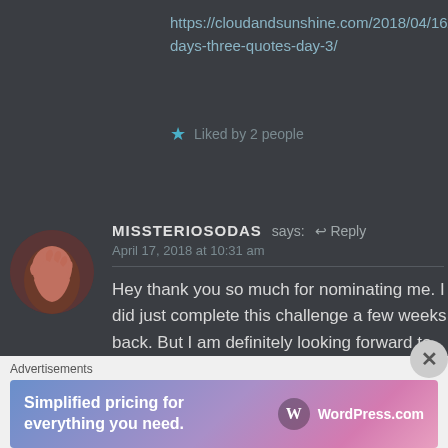https://cloudandsunshine.com/2018/04/16/t... days-three-quotes-day-3/
Liked by 2 people
MISSTERIOSODAS says: Reply
April 17, 2018 at 10:31 am
Hey thank you so much for nominating me. I did just complete this challenge a few weeks back. But I am definitely looking forward to accept this challenge again 🙂
Advertisements
Simplified pricing for everything you need. WordPress.com